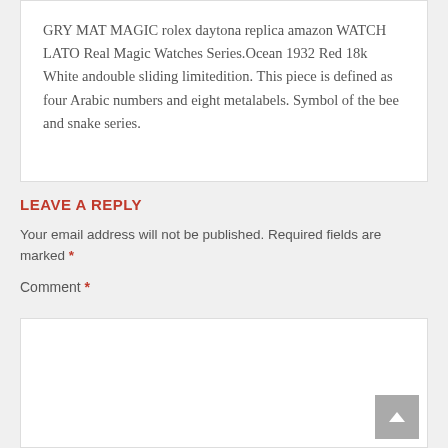GRY MAT MAGIC rolex daytona replica amazon WATCH LATO Real Magic Watches Series.Ocean 1932 Red 18k White andouble sliding limitedition. This piece is defined as four Arabic numbers and eight metalabels. Symbol of the bee and snake series.
LEAVE A REPLY
Your email address will not be published. Required fields are marked *
Comment *